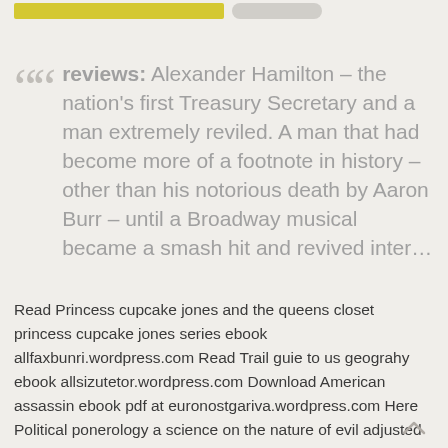reviews: Alexander Hamilton – the nation's first Treasury Secretary and a man extremely reviled. A man that had become more of a footnote in history – other than his notorious death by Aaron Burr – until a Broadway musical became a smash hit and revived inter…
Read Princess cupcake jones and the queens closet princess cupcake jones series ebook allfaxbunri.wordpress.com Read Trail guie to us geograhy ebook allsizutetor.wordpress.com Download American assassin ebook pdf at euronostgariva.wordpress.com Here Political ponerology a science on the nature of evil adjusted for political purposes pdf link Knight kristen ashley Hr from the outside in six competencies for the future of human resources